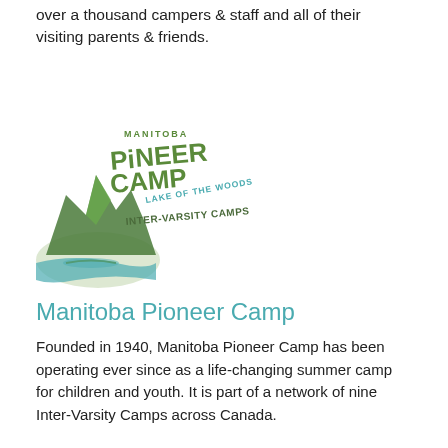over a thousand campers & staff and all of their visiting parents & friends.
[Figure (logo): Manitoba Pioneer Camp – Lake of the Woods – Inter-Varsity Camps logo with green and yellow text and a nature scene illustration]
Manitoba Pioneer Camp
Founded in 1940, Manitoba Pioneer Camp has been operating ever since as a life-changing summer camp for children and youth. It is part of a network of nine Inter-Varsity Camps across Canada.
[Figure (logo): Getting Listed logo: teal triangle with a white maple leaf inside, and bold text GETTING LISTED below]